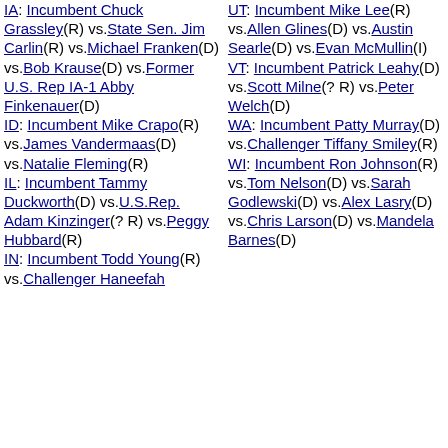IA: Incumbent Chuck Grassley(R) vs.State Sen. Jim Carlin(R) vs.Michael Franken(D) vs.Bob Krause(D) vs.Former U.S. Rep IA-1 Abby Finkenauer(D)
ID: Incumbent Mike Crapo(R) vs.James Vandermaas(D) vs.Natalie Fleming(R)
IL: Incumbent Tammy Duckworth(D) vs.U.S.Rep. Adam Kinzinger(? R) vs.Peggy Hubbard(R)
IN: Incumbent Todd Young(R) vs.Challenger Haneefah
UT: Incumbent Mike Lee(R) vs.Allen Glines(D) vs.Austin Searle(D) vs.Evan McMullin(I)
VT: Incumbent Patrick Leahy(D) vs.Scott Milne(? R) vs.Peter Welch(D)
WA: Incumbent Patty Murray(D) vs.Challenger Tiffany Smiley(R)
WI: Incumbent Ron Johnson(R) vs.Tom Nelson(D) vs.Sarah Godlewski(D) vs.Alex Lasry(D) vs.Chris Larson(D) vs.Mandela Barnes(D)